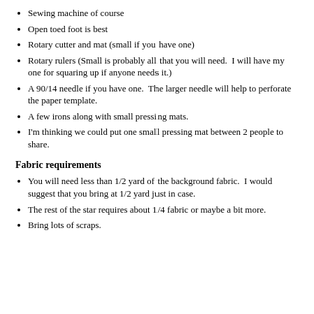Sewing machine of course
Open toed foot is best
Rotary cutter and mat (small if you have one)
Rotary rulers (Small is probably all that you will need.  I will have my one for squaring up if anyone needs it.)
A 90/14 needle if you have one.  The larger needle will help to perforate the paper template.
A few irons along with small pressing mats.
I'm thinking we could put one small pressing mat between 2 people to share.
Fabric requirements
You will need less than 1/2 yard of the background fabric.  I would suggest that you bring at 1/2 yard just in case.
The rest of the star requires about 1/4 fabric or maybe a bit more.
Bring lots of scraps.